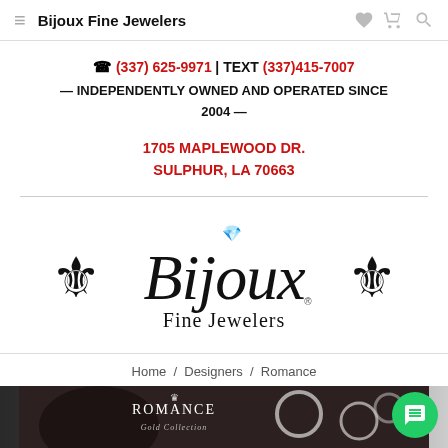Bijoux Fine Jewelers
☎ (337) 625-9971  | TEXT (337)415-7007 — INDEPENDENTLY OWNED AND OPERATED SINCE 2004 —
1705 MAPLEWOOD DR.
SULPHUR, LA 70663
[Figure (logo): Bijoux Fine Jewelers logo with fleur-de-lis decorations on either side of stylized script text 'Bijoux Fine Jewelers' with a diamond ring above the 'o']
Home / Designers / Romance
[Figure (photo): Romance brand banner showing a couple and jewelry rings]